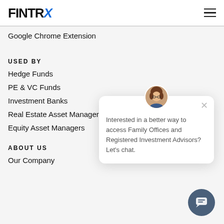[Figure (logo): FINTRX logo with blue stylized X]
Google Chrome Extension
USED BY
Hedge Funds
PE & VC Funds
Investment Banks
Real Estate Asset Managers
Equity Asset Managers
ABOUT US
Our Company
[Figure (screenshot): Chat popup widget with avatar photo and message: Interested in a better way to access Family Offices and Registered Investment Advisors? Let's chat.]
[Figure (other): Dark teal circular chat button with chat icon]